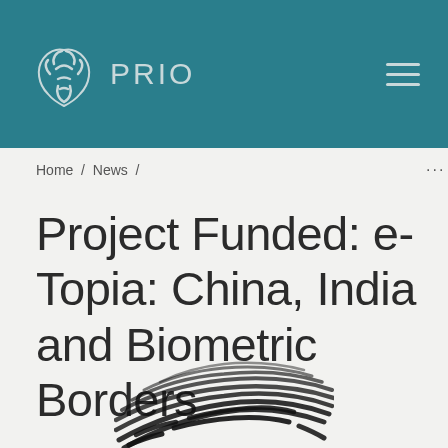PRIO
Home / News /
Project Funded: e-Topia: China, India and Biometric Borders
[Figure (illustration): Fingerprint illustration in black and white, showing fingerprint ridges forming an arch pattern, partially visible at bottom of page]